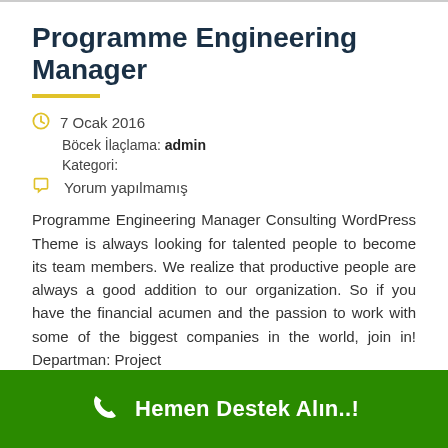Programme Engineering Manager
7 Ocak 2016
Böcek İlaçlama: admin
Kategori:
Yorum yapılmamış
Programme Engineering Manager Consulting WordPress Theme is always looking for talented people to become its team members. We realize that productive people are always a good addition to our organization. So if you have the financial acumen and the passion to work with some of the biggest companies in the world, join in! Departman: Project
Hemen Destek Alın..!